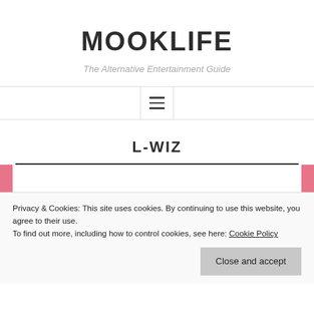MOOKLIFE
The Alternative Entertainment Guide
L-WIZ
Privacy & Cookies: This site uses cookies. By continuing to use this website, you agree to their use.
To find out more, including how to control cookies, see here: Cookie Policy
Close and accept